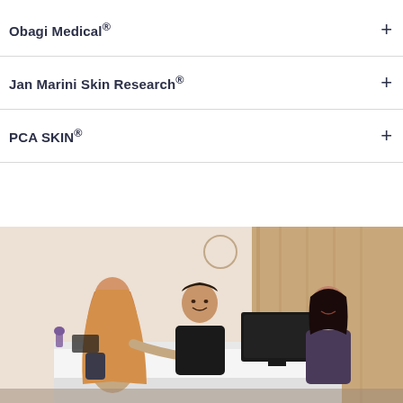Obagi Medical®
Jan Marini Skin Research®
PCA SKIN®
[Figure (photo): A woman with long reddish-blonde hair stands at a medical spa reception desk, interacting with two staff members — a man in a black shirt and a woman with dark hair. The reception desk is white and modern, with a computer monitor visible. The background shows wood-paneled walls in a warm, clinical setting.]